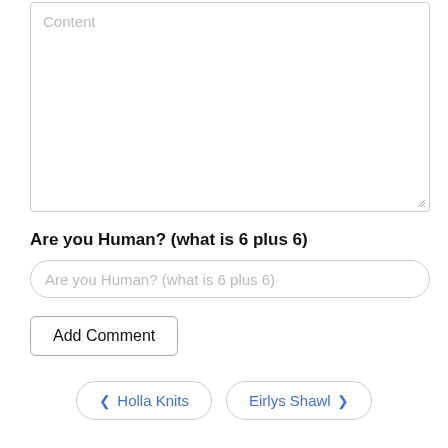[Figure (screenshot): A textarea/content input box with 'Content' placeholder text and a resize handle in the bottom-right corner]
Are you Human? (what is 6 plus 6)
[Figure (screenshot): An input field with placeholder text 'Are you Human? (what is 6 plus 6)' with rounded border]
Add Comment
❮ Holla Knits   Eirlys Shawl ❯